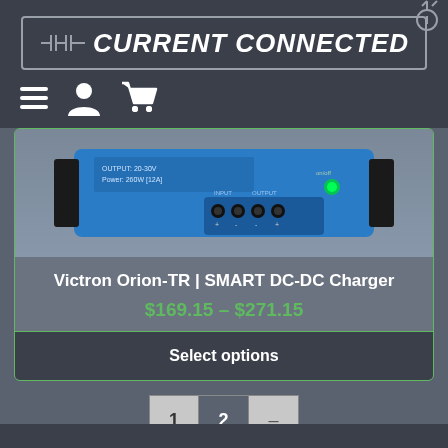[Figure (logo): Current Connected logo with circuit board motif, white bold italic text on dark background with border]
[Figure (photo): Victron Orion-TR SMART DC-DC Charger blue device top view with terminals and green LED indicator]
Victron Orion-TR | SMART DC-DC Charger
$169.15 – $271.15
Select options
1  2  –